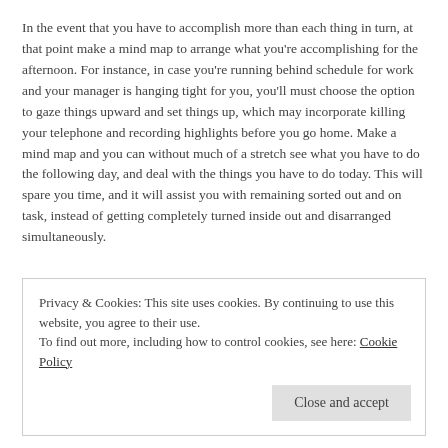In the event that you have to accomplish more than each thing in turn, at that point make a mind map to arrange what you're accomplishing for the afternoon. For instance, in case you're running behind schedule for work and your manager is hanging tight for you, you'll must choose the option to gaze things upward and set things up, which may incorporate killing your telephone and recording highlights before you go home. Make a mind map and you can without much of a stretch see what you have to do the following day, and deal with the things you have to do today. This will spare you time, and it will assist you with remaining sorted out and on task, instead of getting completely turned inside out and disarranged simultaneously.
Privacy & Cookies: This site uses cookies. By continuing to use this website, you agree to their use.
To find out more, including how to control cookies, see here: Cookie Policy
Close and accept